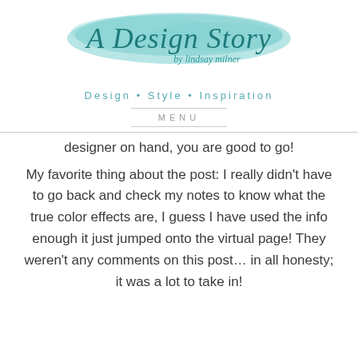[Figure (logo): A Design Story by lindsay milner blog logo with teal watercolor brush stroke background and tagline 'Design • Style • Inspiration']
MENU
designer on hand, you are good to go!
My favorite thing about the post: I really didn't have to go back and check my notes to know what the true color effects are, I guess I have used the info enough it just jumped onto the virtual page! They weren't any comments on this post… in all honesty; it was a lot to take in!